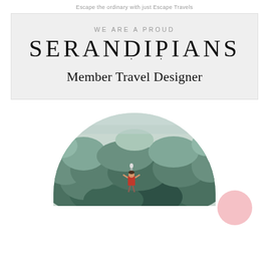Escape the ordinary with Just Escape Travels
[Figure (logo): Serandipians Member Travel Designer badge on grey background with text WE ARE A PROUD above the Serandipians logo and Member Travel Designer below]
[Figure (photo): Semi-circular cropped photo of a person in red standing on a swing overlooking a lush tropical jungle canopy, viewed from behind]